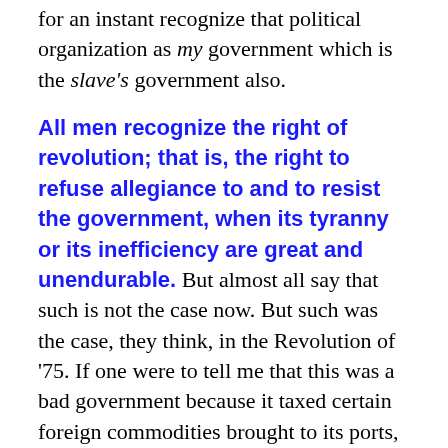for an instant recognize that political organization as my government which is the slave's government also.
All men recognize the right of revolution; that is, the right to refuse allegiance to and to resist the government, when its tyranny or its inefficiency are great and unendurable. But almost all say that such is not the case now. But such was the case, they think, in the Revolution of '75. If one were to tell me that this was a bad government because it taxed certain foreign commodities brought to its ports, it is most probable that I should not make an ado about it, for I can do without them: all machines have their friction; and possibly this does enough good to counter-balance the evil. At any rate, it is a great evil to make a stir about it. But when the friction comes to have its machine, and oppression and robbery are organized, I say, let us not have such a machine any longer. In other words, when a sixth of the population of a nation which has undertaken